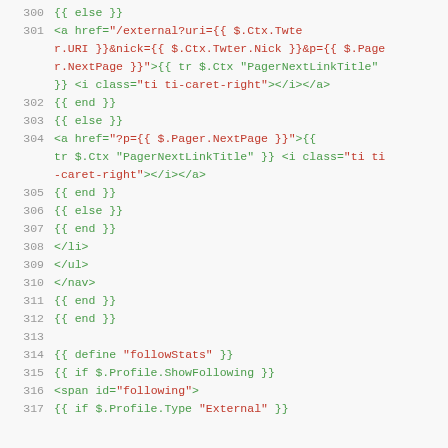[Figure (screenshot): Source code screenshot showing template/HTML code lines 300-316, with line numbers in gray, template tags in green, and attribute values in red, on a light gray background.]